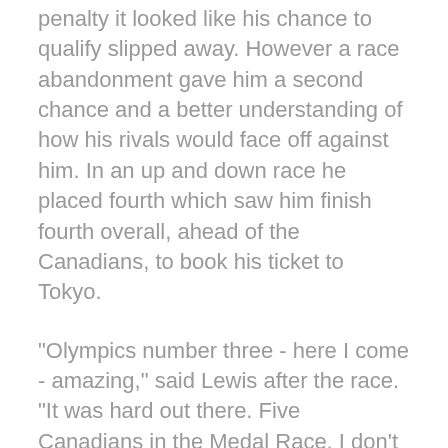penalty it looked like his chance to qualify slipped away. However a race abandonment gave him a second chance and a better understanding of how his rivals would face off against him. In an up and down race he placed fourth which saw him finish fourth overall, ahead of the Canadians, to book his ticket to Tokyo.
"Olympics number three - here I come - amazing," said Lewis after the race. "It was hard out there. Five Canadians in the Medal Race. I don't think I've ever seen a Medal Race with that many sailors from one nation. Five of them were trying to prevent me from getting one position.